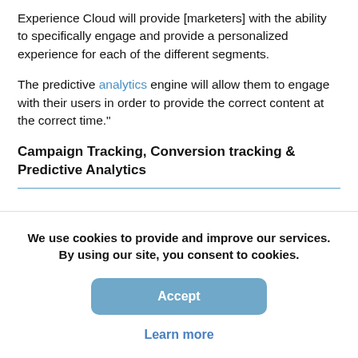Experience Cloud will provide [marketers] with the ability to specifically engage and provide a personalized experience for each of the different segments.
The predictive analytics engine will allow them to engage with their users in order to provide the correct content at the correct time."
Campaign Tracking, Conversion tracking & Predictive Analytics
We use cookies to provide and improve our services. By using our site, you consent to cookies.
Accept
Learn more